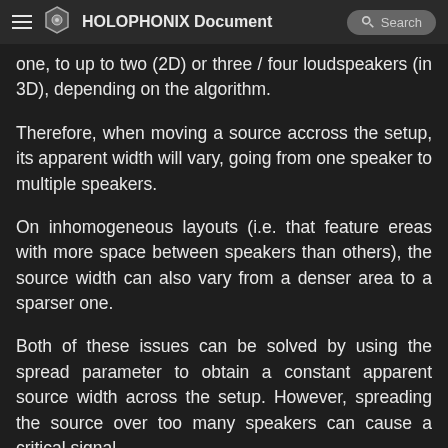HOLOPHONIX Documentation — Search
one, to up to two (2D) or three / four loudspeakers (in 3D), depending on the algorithm.
Therefore, when moving a source accross the setup, its apparent width will vary, going from one speaker to multiple speakers.
On inhomogeneous layouts (i.e. that feature ereas with more space between speakers than others), the source width can also vary from a denser area to a sparser one.
Both of these issues can be solved by using the spread parameter to obtain a constant apparent source width across the setup. However, spreading the source over too many speakers can cause a critical signal